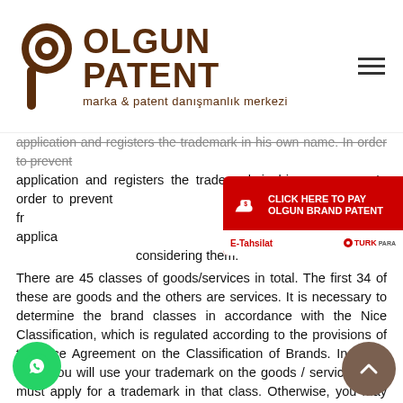[Figure (logo): Olgun Patent logo with eye/p icon and text 'OLGUN PATENT marka & patent danışmanlık merkezi']
application and registers the trademark in his own name. In order to prevent, we recommend getting help from making a trademark application, trademark classes to be considering them.
[Figure (infographic): Red payment widget: 'CLICK HERE TO PAY OLGUN BRAND PATENT' with hand/money icon, E-Tahsilat and TURK PARA logos]
There are 45 classes of goods/services in total. The first 34 of these are goods and the others are services. It is necessary to determine the brand classes in accordance with the Nice Classification, which is regulated according to the provisions of the Nice Agreement on the Classification of Brands. In which class you will use your trademark on the goods / services, you must apply for a trademark in that class. Otherwise, you may not be able to protect your trademark in the class you want to protect, and you may face legal and/or criminal sanctions against third parties.